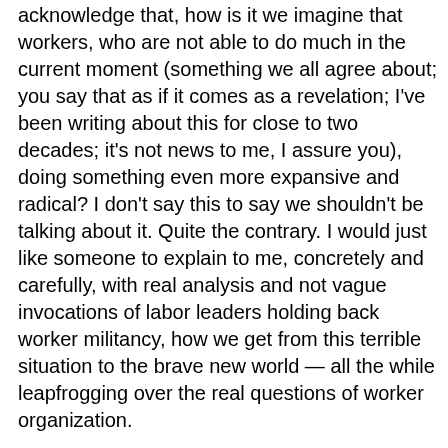acknowledge that, how is it we imagine that workers, who are not able to do much in the current moment (something we all agree about; you say that as if it comes as a revelation; I've been writing about this for close to two decades; it's not news to me, I assure you), doing something even more expansive and radical? I don't say this to say we shouldn't be talking about it. Quite the contrary. I would just like someone to explain to me, concretely and carefully, with real analysis and not vague invocations of labor leaders holding back worker militancy, how we get from this terrible situation to the brave new world — all the while leapfrogging over the real questions of worker organization.